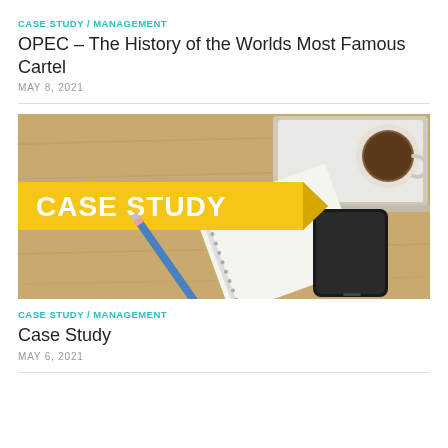CASE STUDY / MANAGEMENT
OPEC – The History of the Worlds Most Famous Cartel
MAY 8, 2021
[Figure (photo): Case Study banner image showing a yellow arrow sign with 'CASE STUDY' text, surrounded by a notebook, pencil, smartphone, and coffee mug on a wooden desk]
CASE STUDY / MANAGEMENT
Case Study
MAY 6, 2021